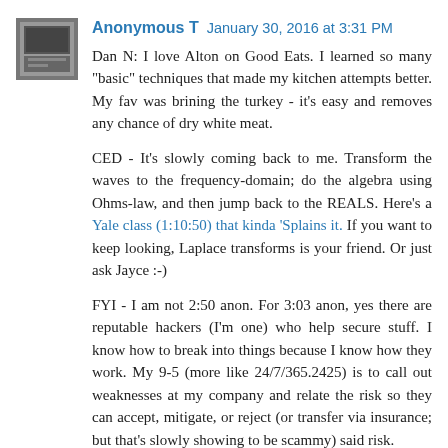[Figure (photo): Avatar thumbnail image showing a dark silhouette or icon, appears to be a person or object, grey/dark toned small square avatar]
Anonymous T   January 30, 2016 at 3:31 PM
Dan N: I love Alton on Good Eats. I learned so many "basic" techniques that made my kitchen attempts better. My fav was brining the turkey - it's easy and removes any chance of dry white meat.
CED - It's slowly coming back to me. Transform the waves to the frequency-domain; do the algebra using Ohms-law, and then jump back to the REALS. Here's a Yale class (1:10:50) that kinda 'Splains it. If you want to keep looking, Laplace transforms is your friend. Or just ask Jayce :-)
FYI - I am not 2:50 anon. For 3:03 anon, yes there are reputable hackers (I'm one) who help secure stuff. I know how to break into things because I know how they work. My 9-5 (more like 24/7/365.2425) is to call out weaknesses at my company and relate the risk so they can accept, mitigate, or reject (or transfer via insurance; but that's slowly showing to be scammy) said risk.
Cheers, -T
Reply